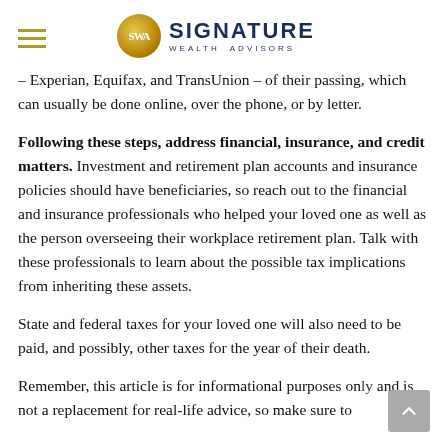Signature Wealth Advisors
– Experian, Equifax, and TransUnion – of their passing, which can usually be done online, over the phone, or by letter.
Following these steps, address financial, insurance, and credit matters. Investment and retirement plan accounts and insurance policies should have beneficiaries, so reach out to the financial and insurance professionals who helped your loved one as well as the person overseeing their workplace retirement plan. Talk with these professionals to learn about the possible tax implications from inheriting these assets.
State and federal taxes for your loved one will also need to be paid, and possibly, other taxes for the year of their death.
Remember, this article is for informational purposes only and is not a replacement for real-life advice, so make sure to